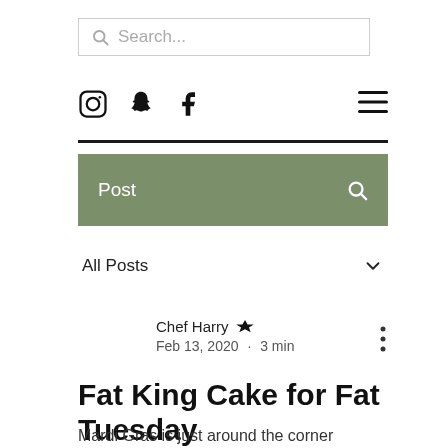[Figure (screenshot): Search bar with magnifying glass icon and placeholder text 'Search...']
[Figure (screenshot): Social media icons: Instagram, Snapchat, Facebook, and hamburger menu icon]
[Figure (screenshot): Green navigation bar labeled 'Post' with search icon]
All Posts
Chef Harry  Feb 13, 2020  ·  3 min
Fat King Cake for Fat Tuesday
Mardi Gras is just around the corner